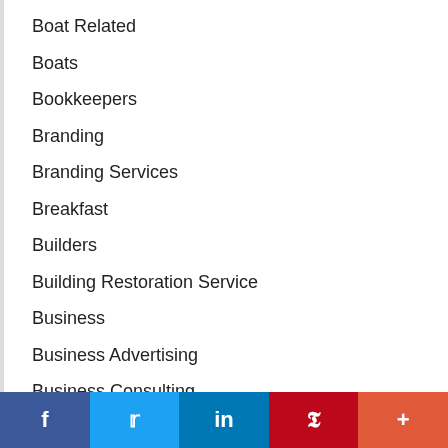Boat Related
Boats
Bookkeepers
Branding
Branding Services
Breakfast
Builders
Building Restoration Service
Business
Business Advertising
Business Consulting
Business Listing Services
Business Marketing
Businesses - General
f  Twitter  in  P  +